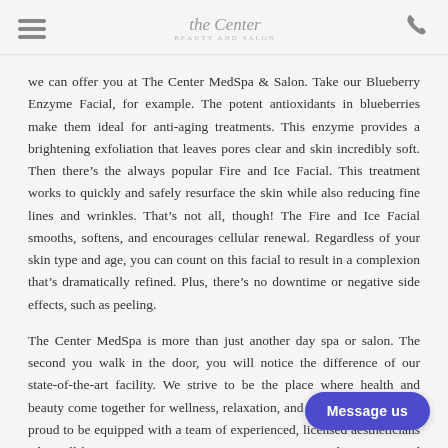the Center BEAUTY AND SALON
we can offer you at The Center MedSpa & Salon. Take our Blueberry Enzyme Facial, for example. The potent antioxidants in blueberries make them ideal for anti-aging treatments. This enzyme provides a brightening exfoliation that leaves pores clear and skin incredibly soft. Then there’s the always popular Fire and Ice Facial. This treatment works to quickly and safely resurface the skin while also reducing fine lines and wrinkles. That’s not all, though! The Fire and Ice Facial smooths, softens, and encourages cellular renewal. Regardless of your skin type and age, you can count on this facial to result in a complexion that’s dramatically refined. Plus, there’s no downtime or negative side effects, such as peeling.
The Center MedSpa is more than just another day spa or salon. The second you walk in the door, you will notice the difference of our state-of-the-art facility. We strive to be the place where health and beauty come together for wellness, relaxation, and rejuvenation. We are proud to be equipped with a team of experienced, licensed aestheticians who will listen to and come up with a customized treatment plan.